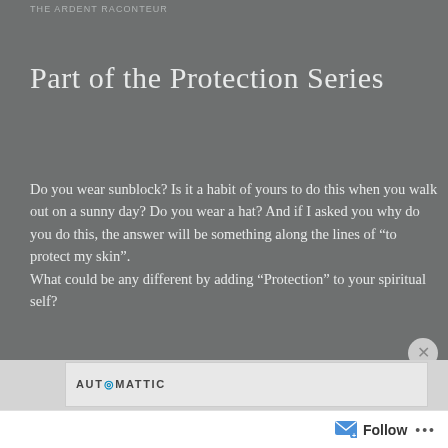THE ARDENT RACONTEUR
Part of the Protection Series
Do you wear sunblock? Is it a habit of yours to do this when you walk out on a sunny day? Do you wear a hat? And if I asked you why do you do this, the answer will be something along the lines of “to protect my skin”.
What could be any different by adding “Protection” to your spiritual self?
Advertisements
AUTⓝMATTIC
Follow ...